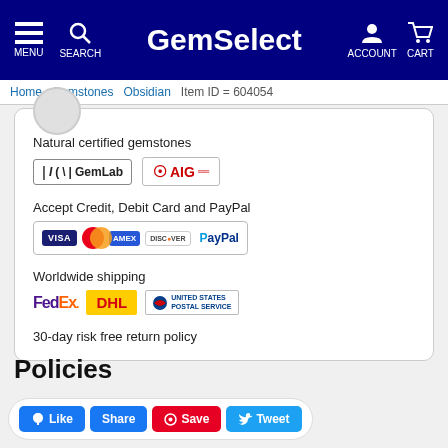GemSelect — MENU SEARCH ACCOUNT CART
Home > Gemstones > Obsidian > Item ID = 604054
Natural certified gemstones
[Figure (logo): GemLab and AIG certification logos]
Accept Credit, Debit Card and PayPal
[Figure (logo): Visa, Mastercard, Amex, Discover, PayPal payment logos]
Worldwide shipping
[Figure (logo): FedEx, DHL, United States Postal Service shipping logos]
30-day risk free return policy
Policies
Like  Share  Save  Tweet